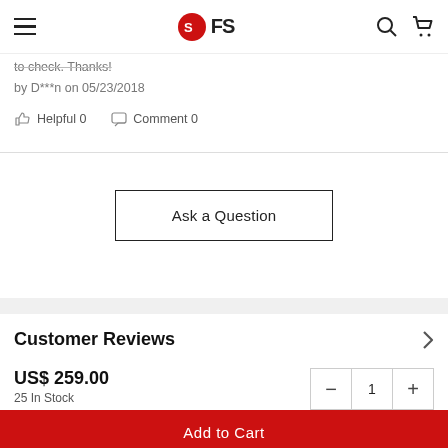FS (logo)
to check. Thanks!
by D***n on 05/23/2018
Helpful 0   Comment 0
Ask a Question
Customer Reviews
US$ 259.00
25 In Stock
Add to Cart